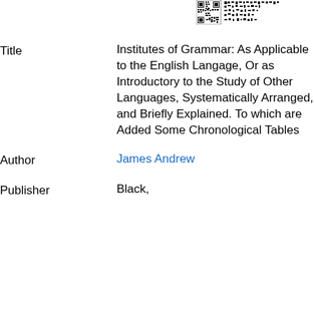[Figure (other): QR code image at top right of page]
| Title | Institutes of Grammar: As Applicable to the English Langage, Or as Introductory to the Study of Other Languages, Systematically Arranged, and Briefly Explained. To which are Added Some Chronological Tables |
| Author | James Andrew |
| Publisher | Black, |